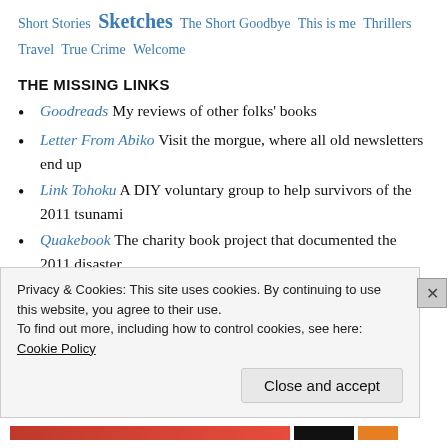Short Stories  Sketches  The Short Goodbye  This is me  Thrillers  Travel  True Crime  Welcome
THE MISSING LINKS
Goodreads My reviews of other folks' books
Letter From Abiko Visit the morgue, where all old newsletters end up
Link Tohoku A DIY voluntary group to help survivors of the 2011 tsunami
Quakebook The charity book project that documented the 2011 disaster
The Patrick Sherriff monthly newsletter Click
Privacy & Cookies: This site uses cookies. By continuing to use this website, you agree to their use.
To find out more, including how to control cookies, see here: Cookie Policy
Close and accept